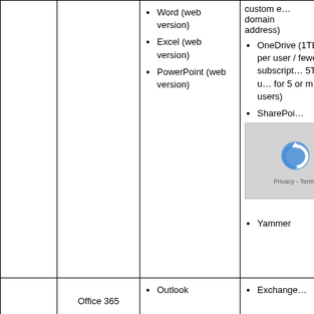| (col1) | (col2) | (col3) | (col4) |
| --- | --- | --- | --- |
|  |  | • Word (web version)
• Excel (web version)
• PowerPoint (web version) | custom e... domain address)
• OneDrive (1TB stor... per user / fewer tha... subscript... 5TB per u... for 5 or m... users)
• SharePoi...
• Skype fo...
[captcha]
• Yammer |
|  | Office 365 | • Outlook | • Exchange... |